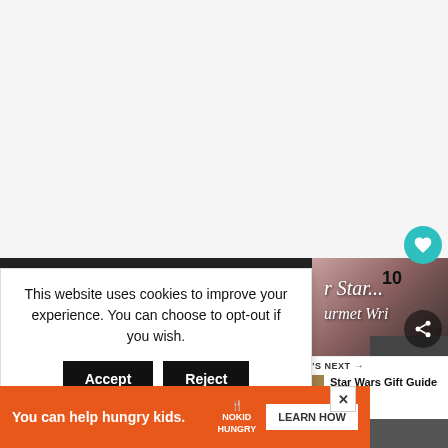[Figure (screenshot): White/light grey blank top area of a webpage]
This website uses cookies to improve your experience. You can choose to opt-out if you wish.
Accept
Reject
Read More
10
[Figure (screenshot): WHAT'S NEXT arrow Star Wars Gift Guide thumbnail with small image]
WHAT'S NEXT → Star Wars Gift Guide
You can help hungry kids.
NOKID HUNGRY
LEARN HOW